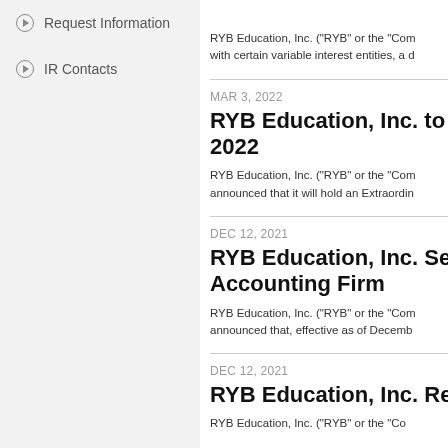Request Information
IR Contacts
RYB Education, Inc. ("RYB" or the "Com... with certain variable interest entities, a d...
MAR 3, 2022
RYB Education, Inc. to... 2022
RYB Education, Inc. ("RYB" or the "Com... announced that it will hold an Extraordi...
DEC 12, 2021
RYB Education, Inc. Se... Accounting Firm
RYB Education, Inc. ("RYB" or the "Com... announced that, effective as of Decemb...
DEC 12, 2021
RYB Education, Inc. Re...
RYB Education, Inc. ("RYB" or the "Co...